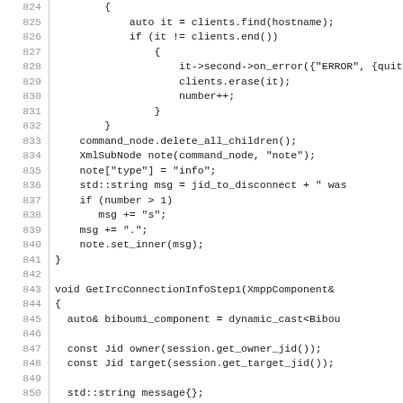[Figure (screenshot): Source code listing (C++) showing lines 824-853, including code for handling client disconnection, then a function GetIrcConnectionInfoStep1]